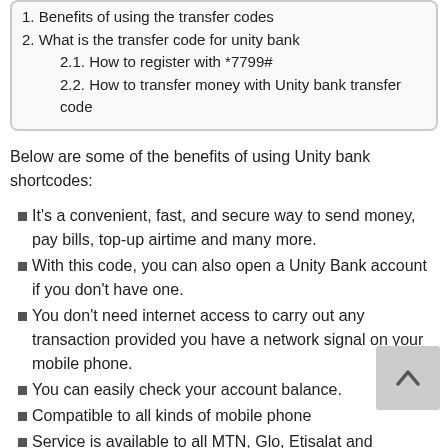1. Benefits of using the transfer codes
2. What is the transfer code for unity bank
2.1. How to register with *7799#
2.2. How to transfer money with Unity bank transfer code
Below are some of the benefits of using Unity bank shortcodes:
It's a convenient, fast, and secure way to send money, pay bills, top-up airtime and many more.
With this code, you can also open a Unity Bank account if you don't have one.
You don't need internet access to carry out any transaction provided you have a network signal on your mobile phone.
You can easily check your account balance.
Compatible to all kinds of mobile phone
Service is available to all MTN, Glo, Etisalat and